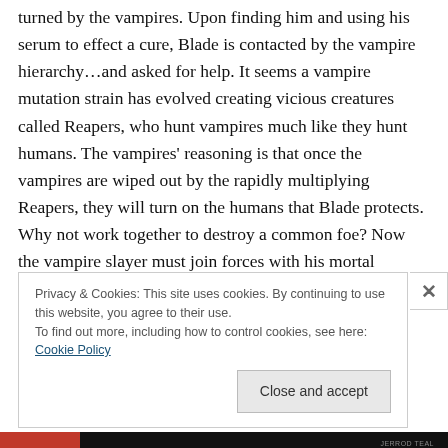turned by the vampires. Upon finding him and using his serum to effect a cure, Blade is contacted by the vampire hierarchy…and asked for help. It seems a vampire mutation strain has evolved creating vicious creatures called Reapers, who hunt vampires much like they hunt humans. The vampires' reasoning is that once the vampires are wiped out by the rapidly multiplying Reapers, they will turn on the humans that Blade protects. Why not work together to destroy a common foe? Now the vampire slayer must join forces with his mortal enemies in order to defeat a threat that makes even vampires afraid of the
Privacy & Cookies: This site uses cookies. By continuing to use this website, you agree to their use.
To find out more, including how to control cookies, see here: Cookie Policy